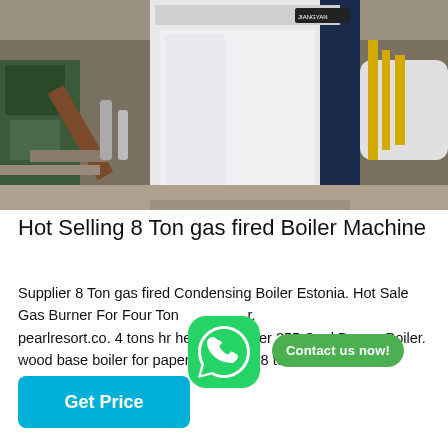[Figure (photo): Industrial gas fired boiler machine in a factory warehouse setting. The boiler is a large white and dark blue vertical unit. Background shows industrial pipes, equipment, and yellow piping on the right side.]
Hot Selling 8 Ton gas fired Boiler Machine
Supplier 8 Ton gas fired Condensing Boiler Estonia. Hot Sale Gas Burner For Four Ton hr. pearlresort.co. 4 tons hr heavy oil boiler 255 Coal Burner Boiler. wood base boiler for paper machine 18 ton hr. Ho...